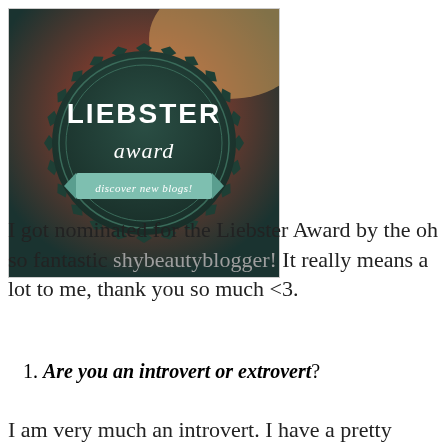[Figure (logo): Liebster Award badge/seal — dark circular badge with gear-like edge, text 'LIEBSTER award discover new blogs!' on a teal ribbon]
I got nominated for the Liebster Award by the oh so fantastic shybeautyblogger! It really means a lot to me, thank you so much <3.
1. Are you an introvert or extrovert?
I am very much an introvert. I have a pretty bad social anxiety and I tend to recharge...